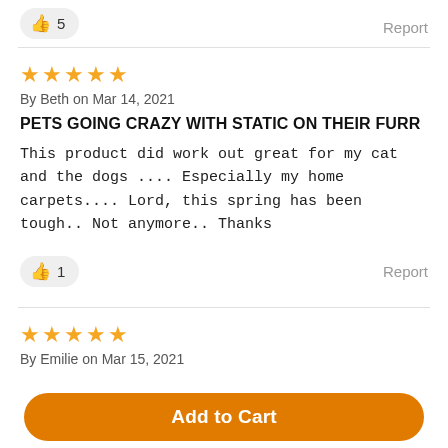👍 5   Report
★★★★★ By Beth on Mar 14, 2021
PETS GOING CRAZY WITH STATIC ON THEIR FURR
This product did work out great for my cat and the dogs .... Especially my home carpets.... Lord, this spring has been tough.. Not anymore.. Thanks
👍 1   Report
★★★★★ By Emilie on Mar 15, 2021
Add to Cart